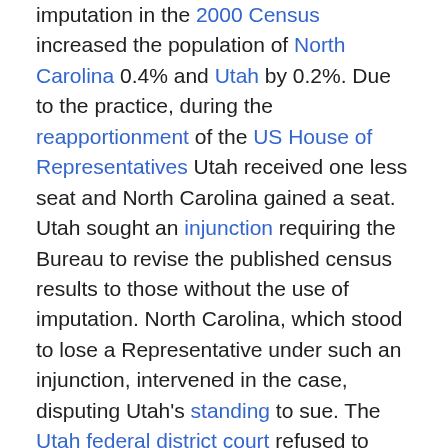imputation in the 2000 Census increased the population of North Carolina 0.4% and Utah by 0.2%. Due to the practice, during the reapportionment of the US House of Representatives Utah received one less seat and North Carolina gained a seat. Utah sought an injunction requiring the Bureau to revise the published census results to those without the use of imputation. North Carolina, which stood to lose a Representative under such an injunction, intervened in the case, disputing Utah's standing to sue. The Utah federal district court refused to grant the State's injunction ruling in favor of the Census Bureau.
Appealing the ruling to the Supreme Court, Utah argued that the Bureau's use of imputation violated 13 U.S.C. §195, which prohibits use of 'sampling' for apportioning Representatives among states. It further argued that imputation did not satisfy the United States Constitution's